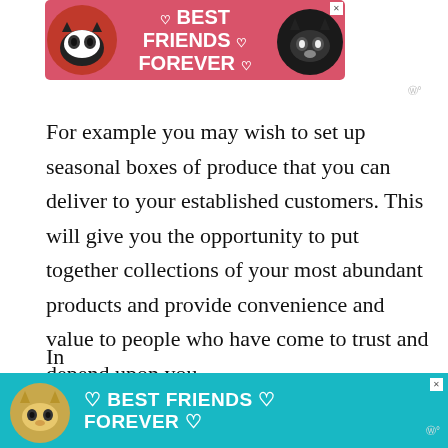[Figure (illustration): Pink advertisement banner with two cats and text 'BEST FRIENDS FOREVER' with heart symbols]
For example you may wish to set up seasonal boxes of produce that you can deliver to your established customers. This will give you the opportunity to put together collections of your most abundant products and provide convenience and value to people who have come to trust and depend upon you.
3. ONLINE SALES
[Figure (illustration): Teal/cyan advertisement banner with a cat and text 'BEST FRIENDS FOREVER' with heart symbols]
In